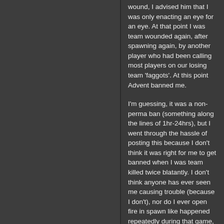wound, I advised him that I was only enacting an eye for an eye. At that point I was team wounded again, after spawning again, by another player who had been calling most players on our losing team 'faggots'. At this point Advent banned me.
I'm guessing, it was a non-perma ban (something along the lines of 1hr-24hrs), but I went through the hassle of posting this because I don't think it was right for me to get banned when I was team killed twice blatantly. I don't think anyone has ever seen me causing trouble (because I don't), nor do I ever open fire in spawn like happened repeatedly during that game, which lead to me getting team wounded and killed. Honestly I try to respect and